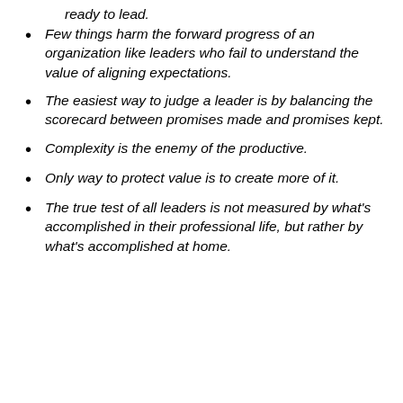ready to lead.
Few things harm the forward progress of an organization like leaders who fail to understand the value of aligning expectations.
The easiest way to judge a leader is by balancing the scorecard between promises made and promises kept.
Complexity is the enemy of the productive.
Only way to protect value is to create more of it.
The true test of all leaders is not measured by what's accomplished in their professional life, but rather by what's accomplished at home.